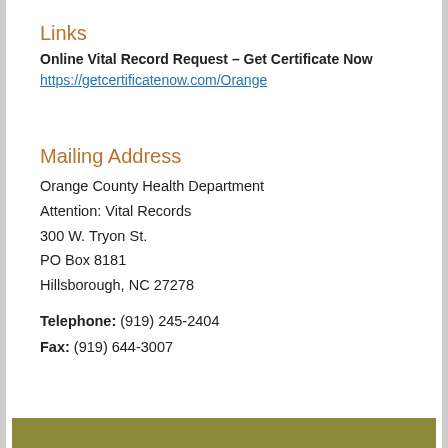Links
Online Vital Record Request – Get Certificate Now
https://getcertificatenow.com/Orange
Mailing Address
Orange County Health Department
Attention: Vital Records
300 W. Tryon St.
PO Box 8181
Hillsborough, NC 27278
Telephone: (919) 245-2404
Fax: (919) 644-3007